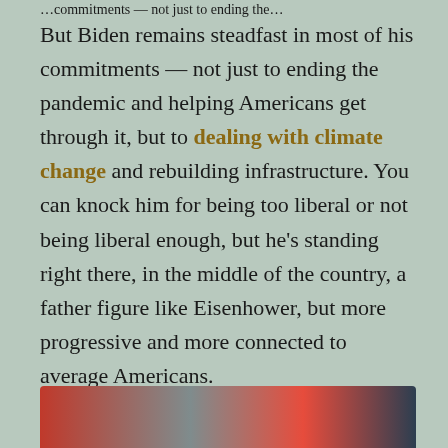…commitments — not just to ending the…
But Biden remains steadfast in most of his commitments — not just to ending the pandemic and helping Americans get through it, but to dealing with climate change and rebuilding infrastructure. You can knock him for being too liberal or not being liberal enough, but he's standing right there, in the middle of the country, a father figure like Eisenhower, but more progressive and more connected to average Americans.
[Figure (photo): Partial photo strip at bottom of page showing faces, cropped]